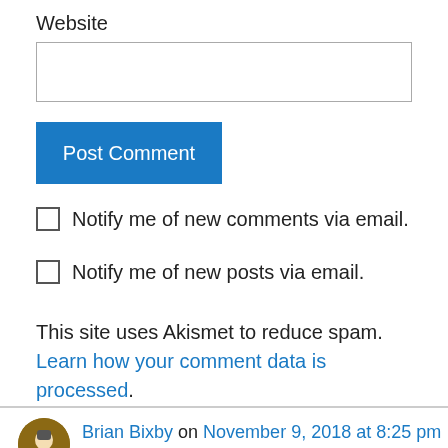Website
[Figure (screenshot): Empty text input field for website URL]
[Figure (screenshot): Blue 'Post Comment' button]
Notify me of new comments via email.
Notify me of new posts via email.
This site uses Akismet to reduce spam. Learn how your comment data is processed.
Brian Bixby on November 9, 2018 at 8:25 pm
Oh, no, it was only an alternate dimension dream . . . hey, wait a sec! We had one of those